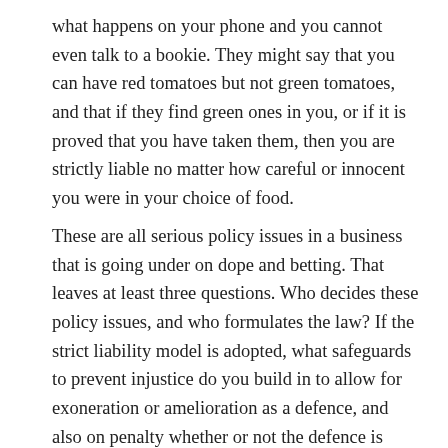what happens on your phone and you cannot even talk to a bookie.  They might say that you can have red tomatoes but not green tomatoes, and that if they find green ones in you, or if it is proved that you have taken them, then you are strictly liable no matter how careful or innocent you were in your choice of food.
These are all serious policy issues in a business that is going under on dope and betting.  That leaves at least three questions.  Who decides these policy issues, and who formulates the law?  If the strict liability model is adopted, what safeguards to prevent injustice do you build in to allow for exoneration or amelioration as a defence, and also on penalty whether or not the defence is made out?  And, who decides whether the law has been infringed, and what the sanction should be?